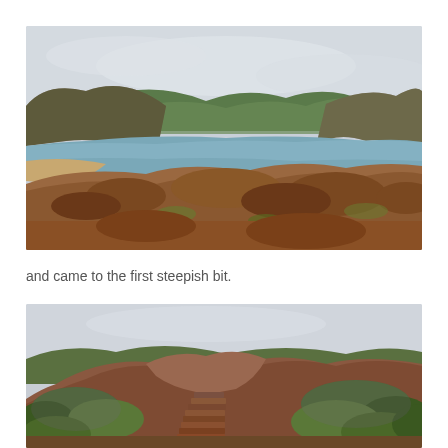[Figure (photo): A coastal landscape with reddish-brown rocky terrain in the foreground, a sandy beach and blue-grey sea in the middle ground, and green hills under an overcast sky in the background.]
and came to the first steepish bit.
[Figure (photo): A steep rocky hillside path with stone steps leading up through reddish-brown rocky terrain and green low-lying shrubs on both sides, under an overcast sky.]